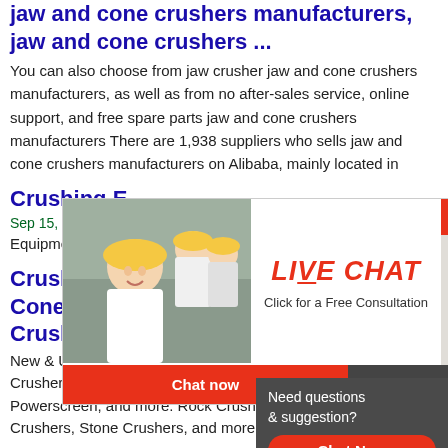jaw and cone crushers manufacturers, jaw and cone crushers ...
You can also choose from jaw crusher jaw and cone crushers manufacturers, as well as from no after-sales service, online support, and free spare parts jaw and cone crushers manufacturers There are 1,938 suppliers who sells jaw and cone crushers manufacturers on Alibaba, mainly located in
Crushing Equipment - Rock Crusher - ...
Sep 15, 2021
Equipments
[Figure (screenshot): Live chat popup with workers in hard hats on left, LIVE CHAT heading in red italic, 'Click for a Free Consultation' subtitle, Chat now (red) and Chat later (dark) buttons]
[Figure (screenshot): Right side chat widget showing '24hrs Online' red bar, agent photo, 'Need questions & suggestion?' dark box, red 'Chat Now' oval button]
Crushers - New & Used Jaw Crushers, Cone Crushers ...
New & Used Jaw Crushers, Impact Crushers, Cone Crushers for sale in Top Brands like Extec, Powerscreen, and more. Rock Crushers, Cone Crushers, Stone Crushers, and more. Ex